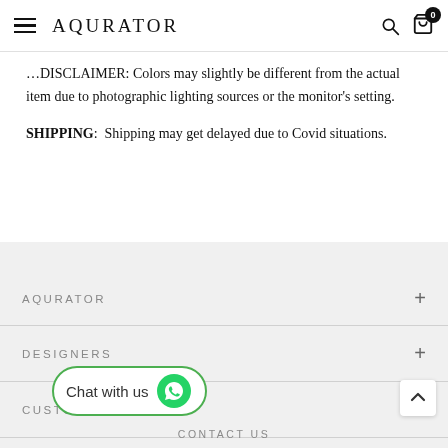AQURATOR
…DISCLAIMER: Colors may slightly be different from the actual item due to photographic lighting sources or the monitor's setting.
SHIPPING:  Shipping may get delayed due to Covid situations.
AQURATOR
DESIGNERS
CUSTOMER CARE
[Figure (other): Chat with us WhatsApp button — rounded green-bordered button with WhatsApp icon]
CONTACT US